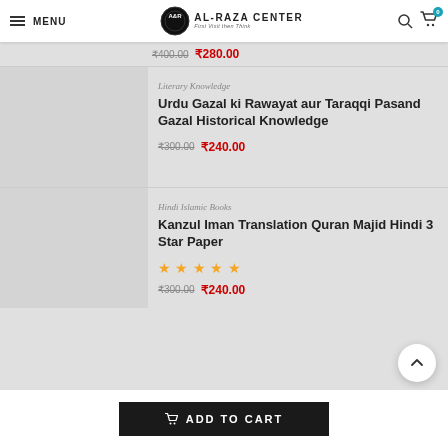MENU | AL-RAZA CENTER | First Visit then Think
₹400.00  ₹280.00
Literary Knowledge
Urdu Gazal ki Rawayat aur Taraqqi Pasand Gazal Historical Knowledge
₹300.00  ₹240.00
Hindi Islamic Books
Kanzul Iman Translation Quran Majid Hindi 3 Star Paper
★★★★★
₹300.00  ₹240.00
ADD TO CART